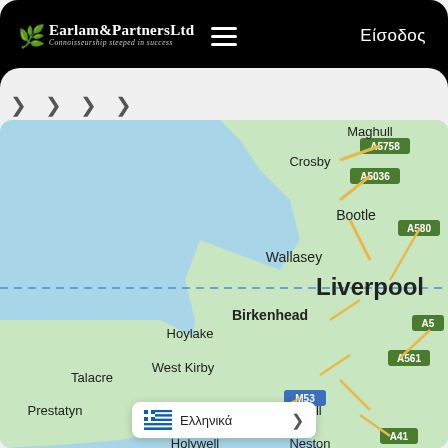Earlam&PartnersLtd — Connoisseurship steeped in success | Είσοδος
[Figure (map): Google Maps screenshot showing the Liverpool area in northwest England, including locations: Maghull, Crosby, A5758, A5036, A580, Bootle, Wallasey, Liverpool, Birkenhead, A561, Hoylake, West Kirby, M53, A5, Heswall, A41, Talacre, Prestatyn, Neston, Holywell. The map shows the Mersey estuary and Irish Sea coast with road network overlaid.]
Ελληνικά